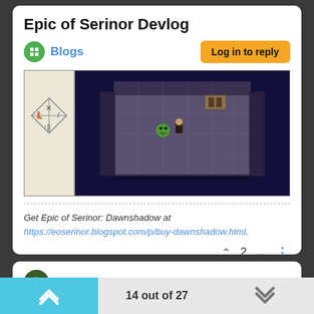Epic of Serinor Devlog
Blogs
Log in to reply
[Figure (screenshot): Game screenshot showing a top-down RPG dungeon scene with stone tiles and a character sprite, alongside a menu panel on the left.]
Get Epic of Serinor: Dawnshadow at https://eoserinor.blogspot.com/p/buy-dawnshadow.html.
2
Eldritch05
Mar 17, 2021, 12:14 PM
Learn by Doing: The main game loop is functional. You can
14 out of 27